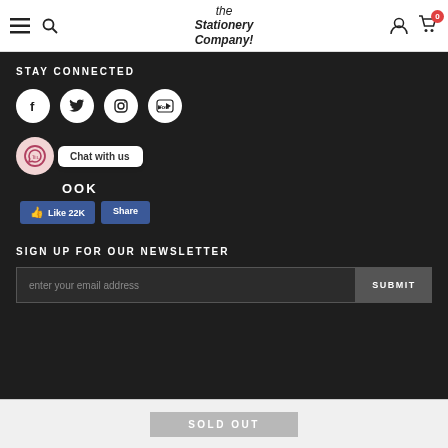The Stationery Company — navigation header with menu, search, logo, account, cart (0)
STAY CONNECTED
[Figure (illustration): Four social media icons in white circles: Facebook, Twitter, Instagram, YouTube]
[Figure (illustration): WhatsApp chat widget bubble with 'Chat with us' label]
OOK
[Figure (illustration): Facebook Like (22K) and Share buttons]
SIGN UP FOR OUR NEWSLETTER
enter your email address
SUBMIT
SOLD OUT